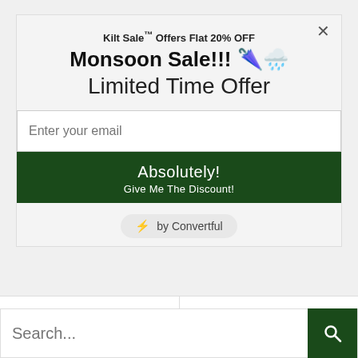Kilt Sale™ Offers Flat 20% OFF
Monsoon Sale!!! 🌧️☂️
Limited Time Offer
Enter your email
Absolutely! Give Me The Discount!
⚡ by Convertful
Who Wears A Kilt
How To Tie A Kilt
Search...